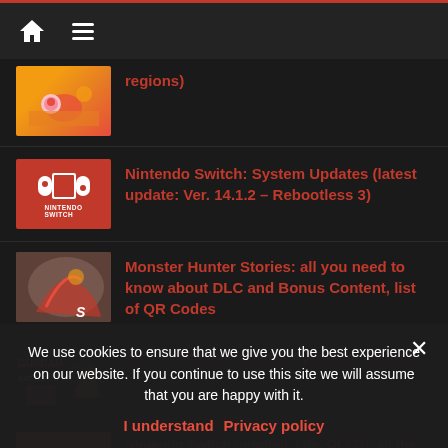Navigation bar with home and menu icons
regions)
[Figure (screenshot): Kirby game thumbnail showing colorful sandy/fire scene]
Nintendo Switch: System Updates (latest update: Ver. 14.1.2 – Rebootless 3)
[Figure (logo): Nintendo Switch red logo thumbnail]
Monster Hunter Stories: all you need to know about DLC and Bonus Content, list of QR Codes
[Figure (screenshot): Monster Hunter Stories game thumbnail]
SD Gundam Battle Alliance (Switch): Software
[Figure (screenshot): Gundam Battle Alliance thumbnail]
Nintendo Switch (original, Lite, OLED): all the
[Figure (screenshot): Nintendo Switch thumbnail red]
We use cookies to ensure that we give you the best experience on our website. If you continue to use this site we will assume that you are happy with it.
I understand   Privacy policy